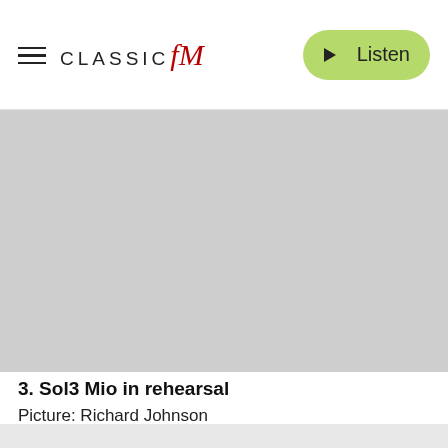CLASSIC fm — Listen
[Figure (photo): A grey placeholder image representing Sol3 Mio in rehearsal]
3. Sol3 Mio in rehearsal
Picture: Richard Johnson